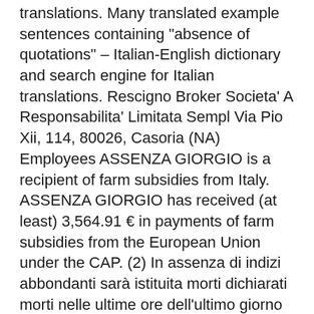translations. Many translated example sentences containing "absence of quotations" – Italian-English dictionary and search engine for Italian translations. Rescigno Broker Societa' A Responsabilita' Limitata Sempl Via Pio Xii, 114, 80026, Casoria (NA) Employees ASSENZA GIORGIO is a recipient of farm subsidies from Italy. ASSENZA GIORGIO has received (at least) 3,564.91 € in payments of farm subsidies from the European Union under the CAP. (2) In assenza di indizi abbondanti sarà istituita morti dichiarati morti nelle ultime ore dell'ultimo giorno del periodo di cui all'art.
2869/2014 privind modificarea și completarea anexei nr. 1 la Ordinul președintelui Agenției Naționale de Administrare Fiscală nr.